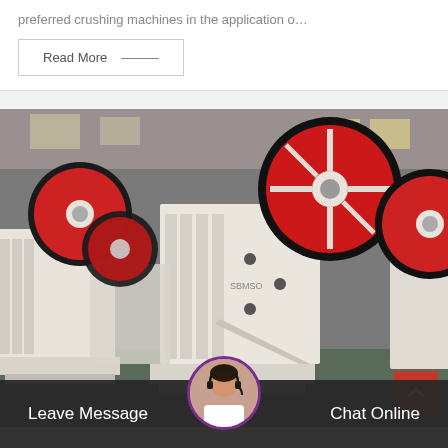preferred crushing machines in the application o…
Read More
[Figure (photo): Industrial jaw crushers with red and black flywheels in a manufacturing facility. Multiple white jaw crusher machines lined up in a warehouse/factory setting.]
Leave Message
Chat Online